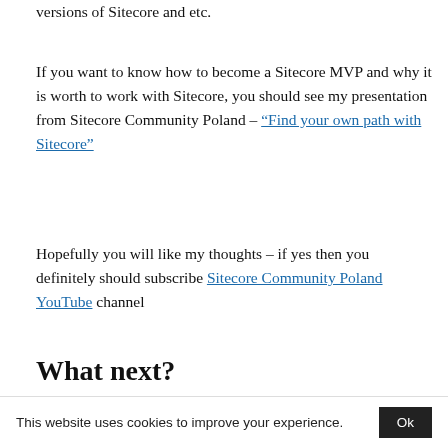versions of Sitecore and etc.
If you want to know how to become a Sitecore MVP and why it is worth to work with Sitecore, you should see my presentation from Sitecore Community Poland – “Find your own path with Sitecore”
Hopefully you will like my thoughts – if yes then you definitely should subscribe Sitecore Community Poland YouTube channel
What next?
This website uses cookies to improve your experience.